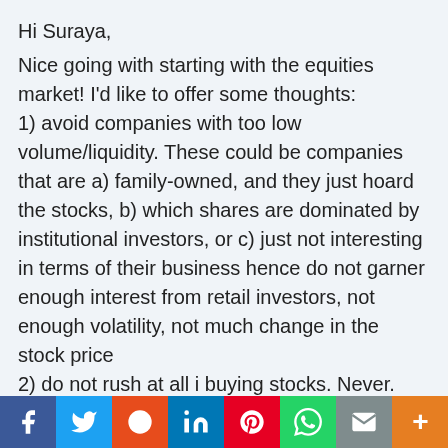Hi Suraya,
Nice going with starting with the equities market! I'd like to offer some thoughts:
1) avoid companies with too low volume/liquidity. These could be companies that are a) family-owned, and they just hoard the stocks, b) which shares are dominated by institutional investors, or c) just not interesting in terms of their business hence do not garner enough interest from retail investors, not enough volatility, not much change in the stock price
2) do not rush at all i buying stocks. Never.
Remember Warren Buffet first rule: do not lose...